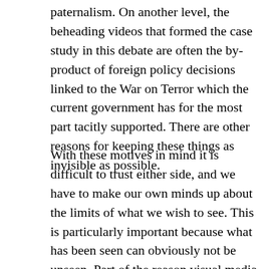paternalism. On another level, the beheading videos that formed the case study in this debate are often the by-product of foreign policy decisions linked to the War on Terror which the current government has for the most part tacitly supported. There are other reasons for keeping these things as invisible as possible.
With these motives in mind it is difficult to trust either side, and we have to make our own minds up about the limits of what we wish to see. This is particularly important because what has been seen can obviously not be unseen. Part of the reason visual media like photographs and video can be so devastating